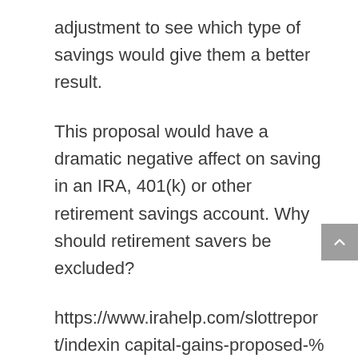adjustment to see which type of savings would give them a better result.
This proposal would have a dramatic negative affect on saving in an IRA, 401(k) or other retirement savings account. Why should retirement savers be excluded?
https://www.irahelp.com/slottreport/indexin capital-gains-proposed-%E2%80%93-what-about-